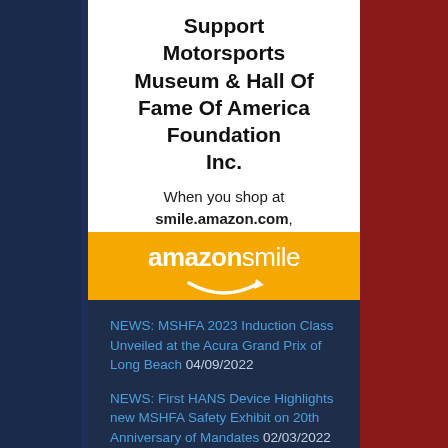Support Motorsports Museum & Hall Of Fame Of America Foundation Inc.
When you shop at smile.amazon.com, Amazon donates.
Go to smile.amazon.com
[Figure (logo): Amazon Smile logo with orange background and white text reading 'amazonsmile' with smile arrow underneath]
NEWS: MSHFA 2023 Induction Class Unveiled at the Acura Grand Prix of Long Beach 04/09/2022
NEWS: First HANS Device Highlights new MSHFA Safety Exhibit on 20th Anniversary of Mandates 02/03/2022
Eight of Nine Motorsports Hall of Fame